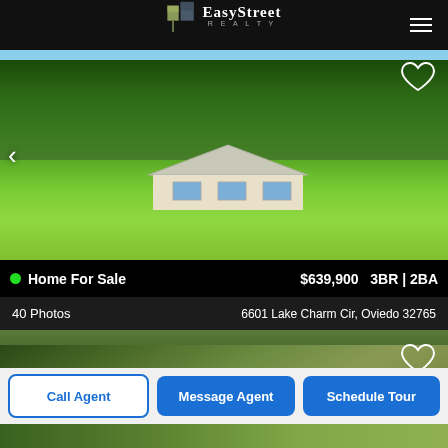EasyStreet Realty
[Figure (photo): Single-story ranch house with large green lawn and tall trees with Spanish moss, home for sale listing photo]
Home For Sale  $639,900  3BR | 2BA
40 Photos  6601 Lake Charm Cir, Oviedo 32765
[Figure (photo): Second property listing photo showing a house roof surrounded by trees and landscaping]
Call Agent
Message Agent
Schedule Tour